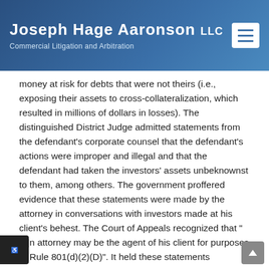Joseph Hage Aaronson LLC — Commercial Litigation and Arbitration
money at risk for debts that were not theirs (i.e., exposing their assets to cross-collateralization, which resulted in millions of dollars in losses). The distinguished District Judge admitted statements from the defendant's corporate counsel that the defendant's actions were improper and illegal and that the defendant had taken the investors' assets unbeknownst to them, among others. The government proffered evidence that these statements were made by the attorney in conversations with investors made at his client's behest. The Court of Appeals recognized that "[a]n attorney may be the agent of his client for purposes of Rule 801(d)(2)(D)". It held these statements